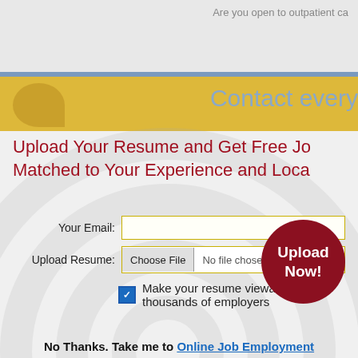Are you open to outpatient ca
Contact every
Upload Your Resume and Get Free Jo Matched to Your Experience and Loca
Your Email:
Upload Resume: Choose File No file chosen
Make your resume viewable to thousands of employers
[Figure (other): Upload Now! circular red button]
No Thanks. Take me to Online Job Employment